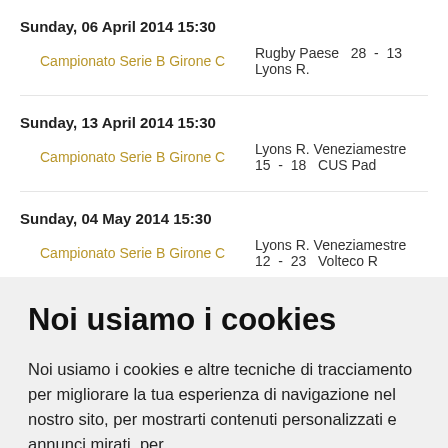Sunday, 06 April 2014 15:30
Campionato Serie B Girone C    Rugby Paese  28  -  13  Lyons R.
Sunday, 13 April 2014 15:30
Campionato Serie B Girone C    Lyons R. Veneziamestre  15  -  18  CUS Pad
Sunday, 04 May 2014 15:30
Campionato Serie B Girone C    Lyons R. Veneziamestre  12  -  23  Volteco R
Noi usiamo i cookies
Noi usiamo i cookies e altre tecniche di tracciamento per migliorare la tua esperienza di navigazione nel nostro sito, per mostrarti contenuti personalizzati e annunci mirati, per